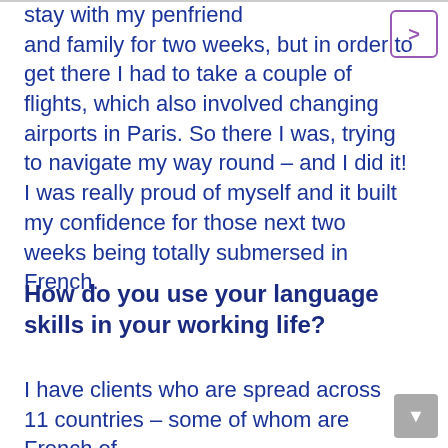stay with my penfriend and family for two weeks, but in order to get there I had to take a couple of flights, which also involved changing airports in Paris. So there I was, trying to navigate my way round – and I did it! I was really proud of myself and it built my confidence for those next two weeks being totally submersed in French.
How do you use your language skills in your working life?
I have clients who are spread across 11 countries – some of whom are French of